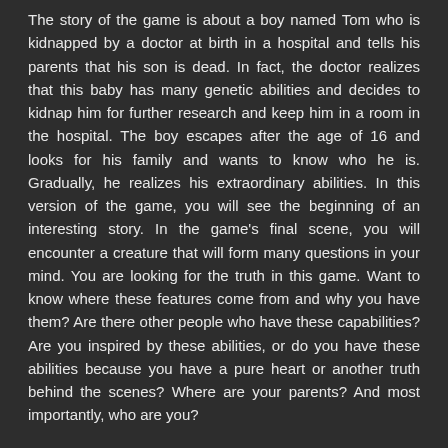The story of the game is about a boy named Tom who is kidnapped by a doctor at birth in a hospital and tells his parents that his son is dead. In fact, the doctor realizes that this baby has many genetic abilities and decides to kidnap him for further research and keep him in a room in the hospital. The boy escapes after the age of 16 and looks for his family and wants to know who he is. Gradually, he realizes his extraordinary abilities. In this version of the game, you will see the beginning of an interesting story. In the game's final scene, you will encounter a creature that will form many questions in your mind. You are looking for the truth in this game. Want to know where these features come from and why you have them? Are there other people who have these capabilities? Are you inspired by these abilities, or do you have these abilities because you have a pure heart or another truth behind the scenes? Where are your parents? And most importantly, who are you?
Changelog:
V 1.3.0:
Contents: